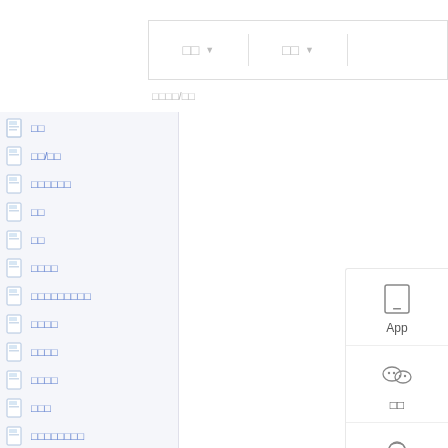[Figure (screenshot): Top navigation bar with two dropdown menus separated by dividers, showing Chinese placeholder text]
□□□□/□□
[Figure (screenshot): Left panel navigation list with page icons and Chinese link text items]
[Figure (screenshot): Right sidebar with App download icon, WeChat icon labeled with Chinese text, and customer service icon labeled with Chinese text]